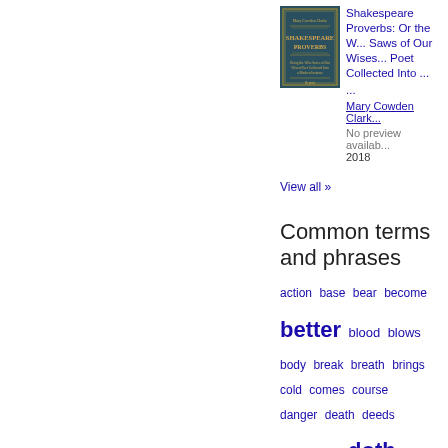[Figure (illustration): Book cover thumbnail for Shakespeare Proverbs showing a dark teal/blue cover with gold text]
Shakespeare Proverbs: Or the W... Saws of Our Wises... Poet Collected Into ...
...
Mary Cowden Clark...
No preview available
2018
View all »
Common terms and phrases
action  base  bear  become  better  blood  blows  body  break  breath  brings  cold  comes  course  danger  death  deeds  delay  devil  doth  dull